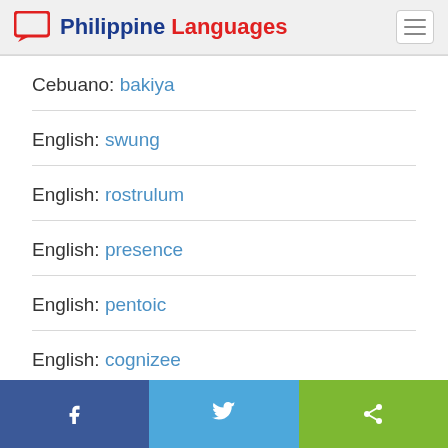Philippine Languages
Cebuano: bakiya
English: swung
English: rostrulum
English: presence
English: pentoic
English: cognizee
Facebook | Twitter | Share